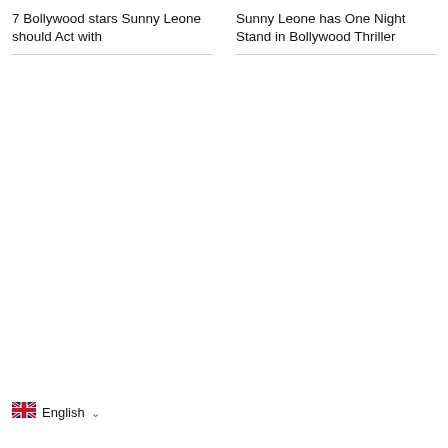7 Bollywood stars Sunny Leone should Act with
Sunny Leone has One Night Stand in Bollywood Thriller
English